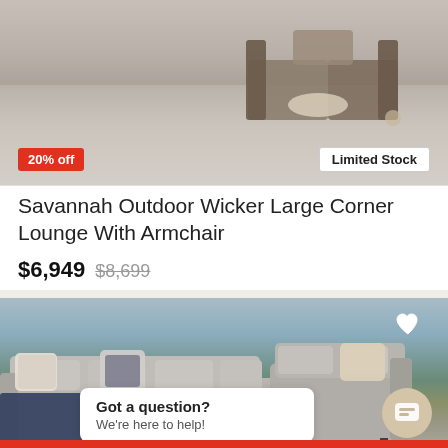[Figure (photo): Outdoor wicker corner lounge furniture on grey wooden floor, top portion cropped]
20% off
Limited Stock
Savannah Outdoor Wicker Large Corner Lounge With Armchair
$6,949 $8,699
[Figure (photo): Large grey outdoor modular sofa/sectional with blue throw blanket and patterned pillows, against scenic outdoor background with trees and blue sky]
Got a question? We're here to help!